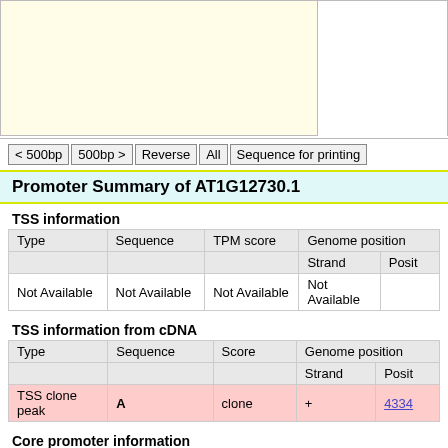[Figure (other): Cream/light-yellow background box (genomic viewer area) on the left, white box on the right, cropped at top]
< 500bp | 500bp > | Reverse | All | Sequence for printing
Promoter Summary of AT1G12730.1
TSS information
| Type | Sequence | TPM score | Genome position / Strand | Genome position / Posit |
| --- | --- | --- | --- | --- |
| Not Available | Not Available | Not Available | Not Available |  |
TSS information from cDNA
| Type | Sequence | Score | Genome position / Strand | Genome position / Posit |
| --- | --- | --- | --- | --- |
| TSS clone peak | A | clone | + | 4334… |
Core promoter information
| Type | Sequence | Genome position / Strand | Genome position / Start |
| --- | --- | --- | --- |
| initiator | Not Available | Not Available |  |